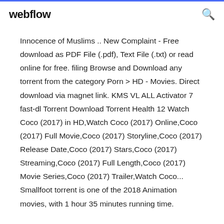webflow
Innocence of Muslims .. New Complaint - Free download as PDF File (.pdf), Text File (.txt) or read online for free. filing Browse and Download any torrent from the category Porn > HD - Movies. Direct download via magnet link. KMS VL ALL Activator 7 fast-dl Torrent Download Torrent Health 12 Watch Coco (2017) in HD,Watch Coco (2017) Online,Coco (2017) Full Movie,Coco (2017) Storyline,Coco (2017) Release Date,Coco (2017) Stars,Coco (2017) Streaming,Coco (2017) Full Length,Coco (2017) Movie Series,Coco (2017) Trailer,Watch Coco... Smallfoot torrent is one of the 2018 Animation movies, with 1 hour 35 minutes running time.